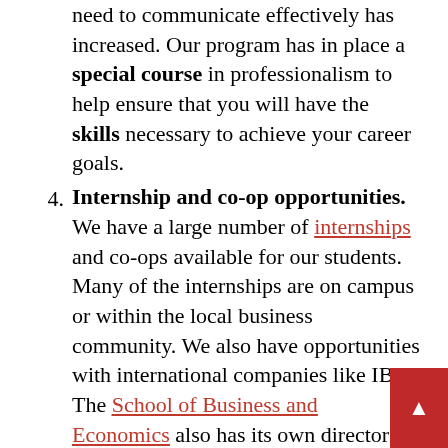As the nature of business has changed, the need to communicate effectively has increased. Our program has in place a special course in professionalism to help ensure that you will have the skills necessary to achieve your career goals.
4. Internship and co-op opportunities. We have a large number of internships and co-ops available for our students. Many of the internships are on campus or within the local business community. We also have opportunities with international companies like IBM. The School of Business and Economics also has its own director of career opportunities and internships available to all our students. (In recent years, any student who has wanted an internship and has met the